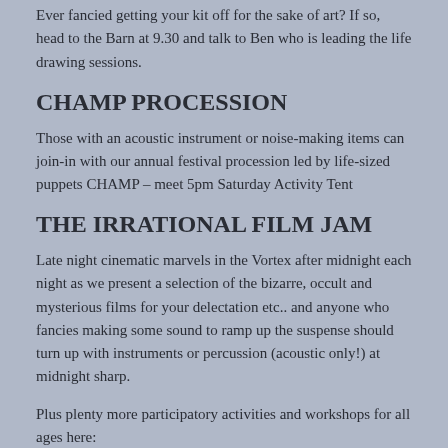Ever fancied getting your kit off for the sake of art? If so, head to the Barn at 9.30 and talk to Ben who is leading the life drawing sessions.
CHAMP PROCESSION
Those with an acoustic instrument or noise-making items can join-in with our annual festival procession led by life-sized puppets CHAMP – meet 5pm Saturday Activity Tent
THE IRRATIONAL FILM JAM
Late night cinematic marvels in the Vortex after midnight each night as we present a selection of the bizarre, occult and mysterious films for your delectation etc.. and anyone who fancies making some sound to ramp up the suspense should turn up with instruments or percussion (acoustic only!) at midnight sharp.
Plus plenty more participatory activities and workshops for all ages here:
http://...